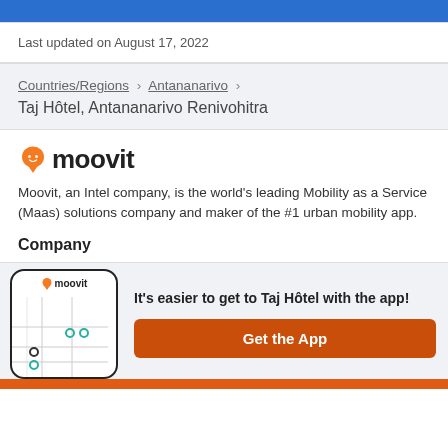Last updated on August 17, 2022
Countries/Regions › Antananarivo › Taj Hôtel, Antananarivo Renivohitra
[Figure (logo): Moovit logo with orange pin icon and 'moovit' text]
Moovit, an Intel company, is the world's leading Mobility as a Service (Maas) solutions company and maker of the #1 urban mobility app.
Company
[Figure (screenshot): Phone mockup with Moovit app map and app promotion: It's easier to get to Taj Hôtel with the app! Get the App button]